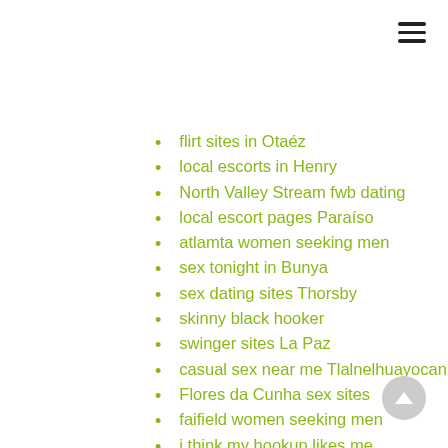flirt sites in Otaéz
local escorts in Henry
North Valley Stream fwb dating
local escort pages Paraíso
atlamta women seeking men
sex tonight in Bunya
sex dating sites Thorsby
skinny black hooker
swinger sites La Paz
casual sex near me Tlalnelhuayocan
Flores da Cunha sex sites
faifield women seeking men
i think my hookup likes me
fuck sites in Cedral
older people dating for marriage 11 month
free asexual dating sites